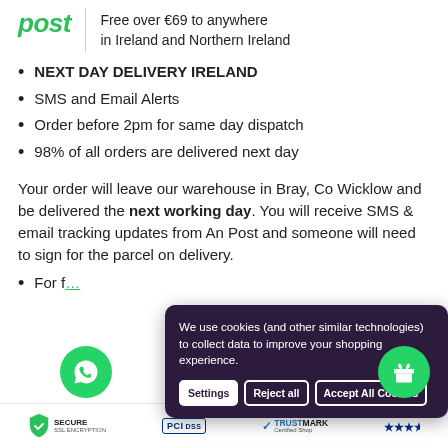post | Free over €69 to anywhere in Ireland and Northern Ireland
NEXT DAY DELIVERY IRELAND
SMS and Email Alerts
Order before 2pm for same day dispatch
98% of all orders are delivered next day
Your order will leave our warehouse in Bray, Co Wicklow and be delivered the next working day. You will receive SMS & email tracking updates from An Post and someone will need to sign for the parcel on delivery.
For f…
We use cookies (and other similar technologies) to collect data to improve your shopping experience.
SECURE SSL ENCRYPTION | PCI DSS | TRUSTMARK Certified Shop